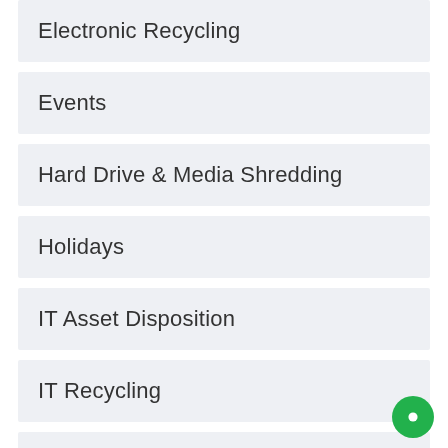Electronic Recycling
Events
Hard Drive & Media Shredding
Holidays
IT Asset Disposition
IT Recycling
R2 recycling certification
Refurbished Technology
Responsible Recycling